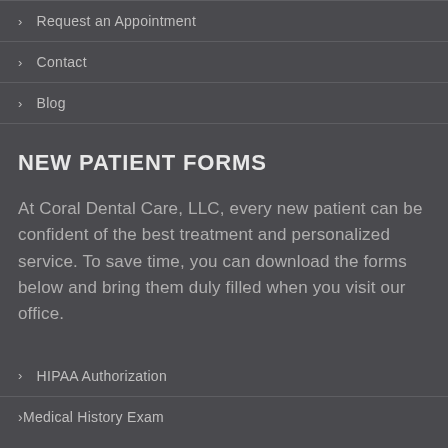> Request an Appointment
> Contact
> Blog
NEW PATIENT FORMS
At Coral Dental Care, LLC, every new patient can be confident of the best treatment and personalized service. To save time, you can download the forms below and bring them duly filled when you visit our office.
> HIPAA Authorization
> Medical History Exam